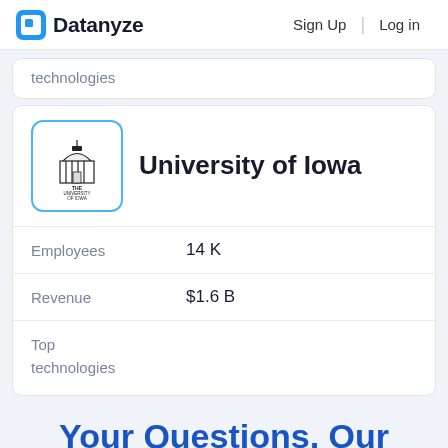Datanyze   Sign Up   Log in
technologies
University of Iowa
Employees   14 K
Revenue   $1.6 B
Top technologies
Your Questions, Our